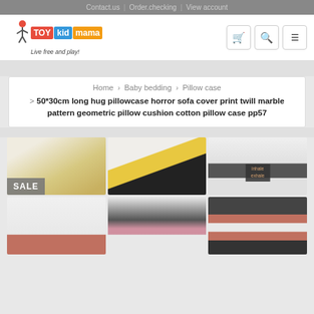Contact us | Order checking | View account
[Figure (logo): TOY kid mama logo with tagline 'Live free and play!']
Home > Baby bedding > Pillow case
> 50*30cm long hug pillowcase horror sofa cover print twill marble pattern geometric pillow cushion cotton pillow case pp57
[Figure (photo): Grid of 6 decorative marble pattern pillow cases in various color combinations including gold/black, yellow/black geometric, white/black with inhale-exhale text, white/rose gold, black-white/pink, and black/rose gold striped designs. SALE badge visible on first image.]